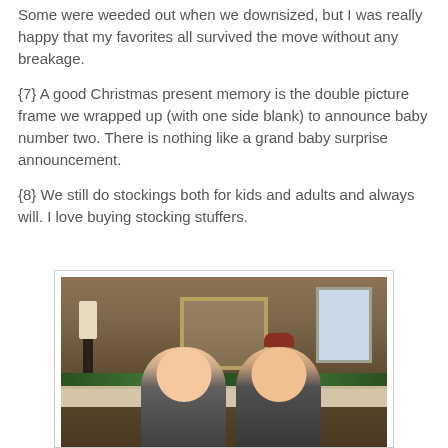Some were weeded out when we downsized, but I was really happy that my favorites all survived the move without any breakage.
{7} A good Christmas present memory is the double picture frame we wrapped up (with one side blank) to announce baby number two. There is nothing like a grand baby surprise announcement.
{8} We still do stockings both for kids and adults and always will. I love buying stocking stuffers.
[Figure (photo): Two smiling women standing in front of a fireplace mantel decorated with Christmas garland, candles, and lights. One woman appears to be wearing reindeer antler headband. A framed picture and window are visible in the background.]